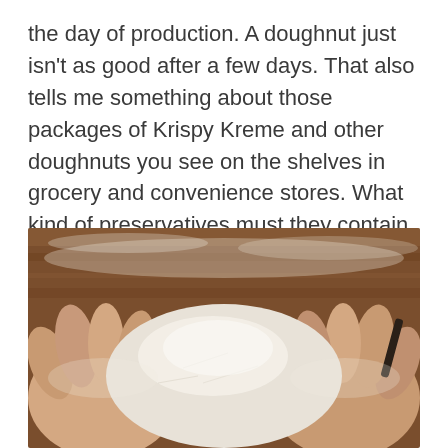the day of production. A doughnut just isn't as good after a few days. That also tells me something about those packages of Krispy Kreme and other doughnuts you see on the shelves in grocery and convenience stores. What kind of preservatives must they contain to help them maintain flavor and texture longer?
[Figure (photo): Hands holding a mound of flour or dough on a wooden surface dusted with flour.]